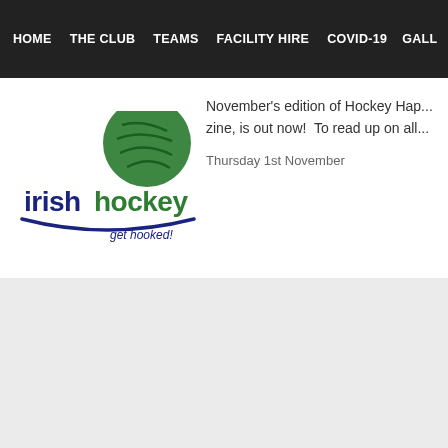HOME  THE CLUB  TEAMS  FACILITY HIRE  COVID-19  GALL...
[Figure (logo): Irish Hockey logo with green hockey ball graphic and text 'irish hockey get hooked!' in navy and green]
November's edition of Hockey Hap... zine, is out now!  To read up on all...
Thursday 1st November